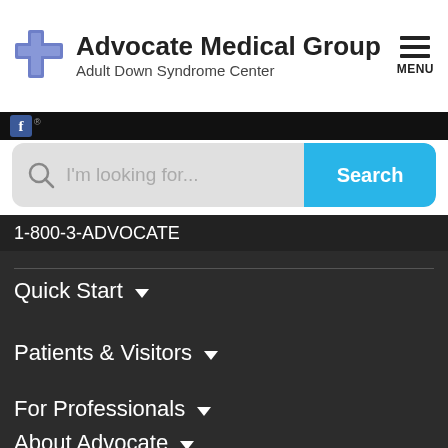[Figure (logo): Advocate Medical Group logo with blue cross icon, 'Advocate Medical Group' text and 'Adult Down Syndrome Center' subtitle]
Advocate Medical Group
Adult Down Syndrome Center
MENU
[Figure (screenshot): Dark navigation bar with Facebook icon and registered trademark symbol]
I'm looking for...
Search
1-800-3-ADVOCATE
Quick Start ▼
Patients & Visitors ▼
For Professionals ▼
About Advocate ▼